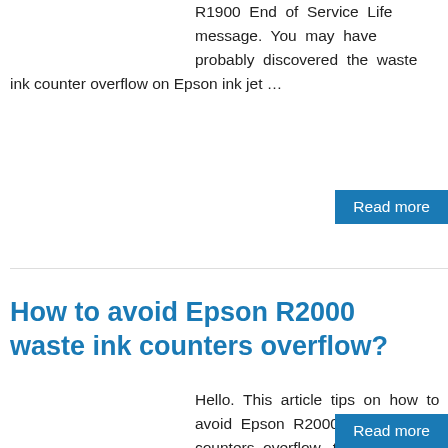R1900 End of Service Life message. You may have probably discovered the waste ink counter overflow on Epson ink jet …
Read more
How to avoid Epson R2000 waste ink counters overflow?
Hello. This article tips on how to avoid Epson R2000 waste ink counters overflow, tips on how to avoid Epson R2000 End of Service Life message. You have got probably seen the waste ink counter …
Read more